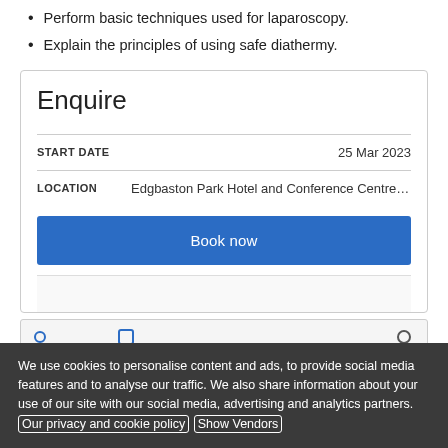Perform basic techniques used for laparoscopy.
Explain the principles of using safe diathermy.
Enquire
| Field | Value |
| --- | --- |
| START DATE | 25 Mar 2023 |
| LOCATION | Edgbaston Park Hotel and Conference Centre, Univer |
Book now
We use cookies to personalise content and ads, to provide social media features and to analyse our traffic. We also share information about your use of our site with our social media, advertising and analytics partners. Our privacy and cookie policy Show Vendors